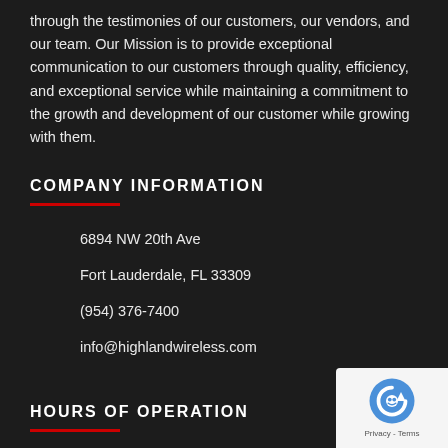through the testimonies of our customers, our vendors, and our team. Our Mission is to provide exceptional communication to our customers through quality, efficiency, and exceptional service while maintaining a commitment to the growth and development of our customer while growing with them.
COMPANY INFORMATION
6894 NW 20th Ave
Fort Lauderdale, FL 33309

(954) 376-7400

info@highlandwireless.com
HOURS OF OPERATION
Our support available to help you 24 hours a day, seven days a w…
[Figure (other): reCAPTCHA badge with robot icon and Privacy - Terms text]